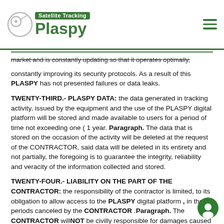Plaspy Satellite Tracking
market and is constantly updating so that it operates optimally, constantly improving its security protocols. As a result of this PLASPY has not presented failures or data leaks.
TWENTY-THIRD.- PLASPY DATA: the data generated in tracking activity, issued by the equipment and the use of the PLASPY digital platform will be stored and made available to users for a period of time not exceeding one ( 1 year. Paragraph. The data that is stored on the occasion of the activity will be deleted at the request of the CONTRACTOR, said data will be deleted in its entirety and not partially, the foregoing is to guarantee the integrity, reliability and veracity of the information collected and stored.
TWENTY-FOUR.- LIABILITY ON THE PART OF THE CONTRACTOR: the responsibility of the contractor is limited, to its obligation to allow access to the PLASPY digital platform , in the periods canceled by the CONTRACTOR .Paragraph. The CONTRACTOR willNOT be civilly responsible for damages caused to the CONTRACTOR .